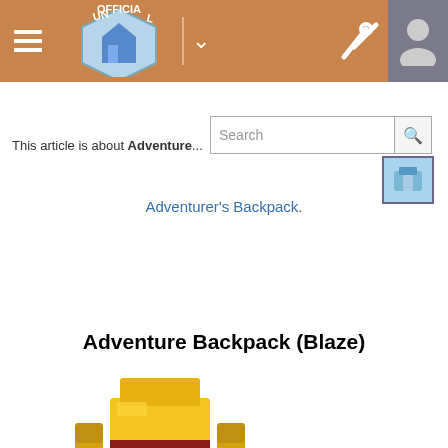UNOFFICIAL (header bar with logo, hamburger menu, tools, avatar)
This article is about Adventure...
Adventurer's Backpack.
Adventure Backpack (Blaze)
[Figure (photo): 3D pixel-art rendering of the Adventure Backpack (Blaze) item from Minecraft — a golden/yellow backpack with red straps resembling a blaze mob]
[Figure (photo): Small inventory icon of the Adventure Backpack (Blaze) on grey background]
| Property | Value |
| --- | --- |
| Name | Adventure Backpack (Blaze) |
| Source Mod | Adventure Backpack |
| ID Name | adventurebackpack:adventureBackpack:4 |